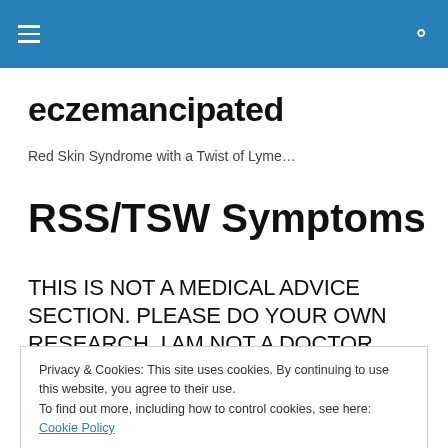≡  🔍
eczemancipated
Red Skin Syndrome with a Twist of Lyme…
RSS/TSW Symptoms
THIS IS NOT A MEDICAL ADVICE SECTION. PLEASE DO YOUR OWN RESEARCH. I AM NOT A DOCTOR.
Privacy & Cookies: This site uses cookies. By continuing to use this website, you agree to their use.
To find out more, including how to control cookies, see here: Cookie Policy
[Close and accept]
What it means...